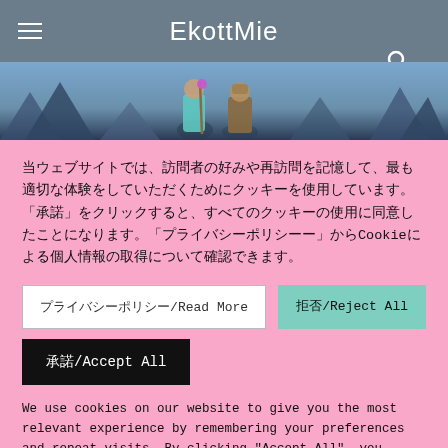EkottMie
[Figure (screenshot): Game screenshot banner showing fantasy characters in a blue/purple mountainous landscape]
当ウェブサイトでは、訪問者の好みや再訪問を記憶して、最も適切な体験をしていただくためにクッキーを使用しています。「承諾」をクリックすると、すべてのクッキーの使用に同意したことになります。「プライバシーポリシー」からCookieによる個人情報の取得について確認できます。
プライバシーポリシー/Read More
拒否/Reject All
承諾/Accept All
We use cookies on our website to give you the most relevant experience by remembering your preferences and repeat visits. By clicking "Accept All", you consent to the use of ALL the cookies. You can check our "Privacy Policy" to see how we use cookies to collect personal information.